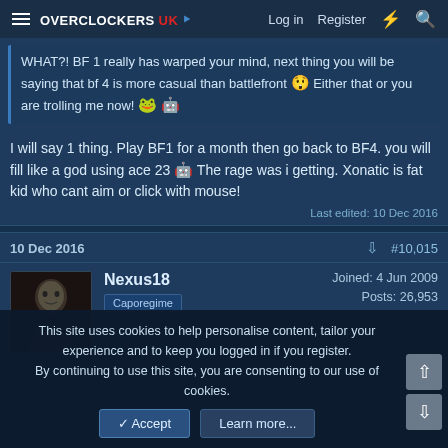Overclockers UK — Log in  Register
WHAT?! BF 1 really has warped your mind, next thing you will be saying that bf 4 is more casual than battlefront 😲 Either that or you are trolling me now! 🐸 🤖
I will say 1 thing. Play BF1 for a month then go back to BF4. you will fill like a god using ace 23 🤖 The rage was i getting. Xonatic is fat kid who cant aim or click with mouse!
Last edited: 10 Dec 2016
10 Dec 2016    #10,015
Nexus18
Caporegime
Joined: 4 Jun 2009
Posts: 26,953
This site uses cookies to help personalise content, tailor your experience and to keep you logged in if you register.
By continuing to use this site, you are consenting to our use of cookies.